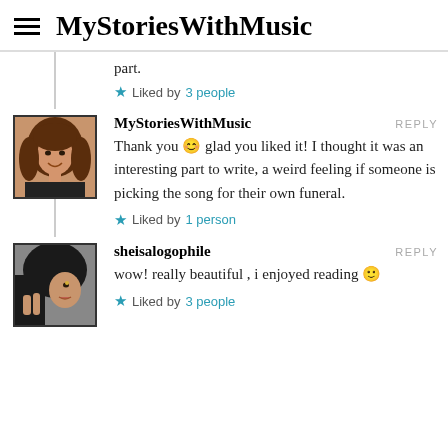MyStoriesWithMusic
part.
★ Liked by 3 people
MyStoriesWithMusic   REPLY
Thank you 😊 glad you liked it! I thought it was an interesting part to write, a weird feeling if someone is picking the song for their own funeral.
★ Liked by 1 person
sheisalogophile   REPLY
wow! really beautiful , i enjoyed reading 🙂
★ Liked by 3 people